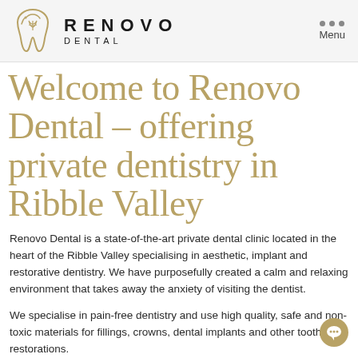[Figure (logo): Renovo Dental logo with tooth icon and text RENOVO DENTAL]
Welcome to Renovo Dental – offering private dentistry in Ribble Valley
Renovo Dental is a state-of-the-art private dental clinic located in the heart of the Ribble Valley specialising in aesthetic, implant and restorative dentistry. We have purposefully created a calm and relaxing environment that takes away the anxiety of visiting the dentist.
We specialise in pain-free dentistry and use high quality, safe and non-toxic materials for fillings, crowns, dental implants and other tooth restorations.
PRIVATE